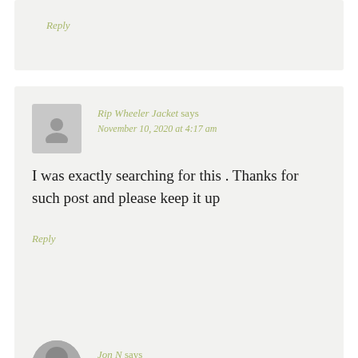Reply
Rip Wheeler Jacket says
November 10, 2020 at 4:17 am
I was exactly searching for this . Thanks for such post and please keep it up
Reply
Jon N says